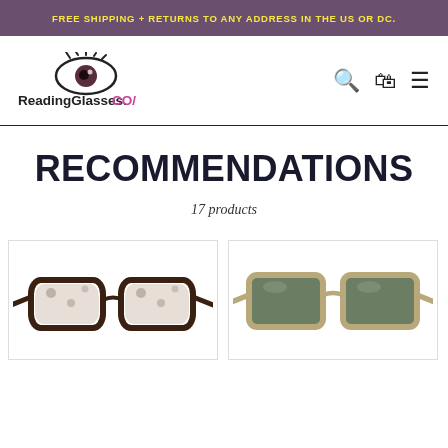FREE SHIPPING + RETURNS TO ANY ADDRESS IN THE US OR DC.
[Figure (logo): ReadingGlasses.CO/ logo with stylized eye and eyelashes icon]
RECOMMENDATIONS
17 products
[Figure (photo): Tortoiseshell cat-eye / rectangular reading glasses frame in dark brown with pattern]
[Figure (photo): Square sunglasses with tan/champagne translucent frame and green lenses]